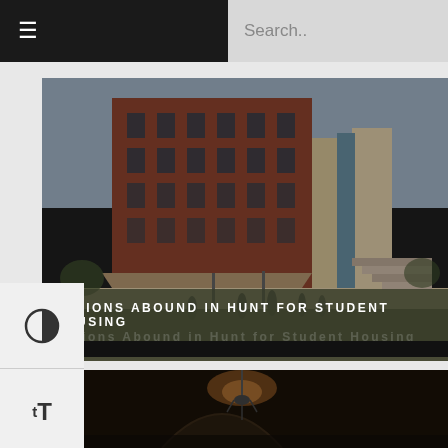≡  Search..
[Figure (photo): Exterior photo of a brick university dormitory building with students walking in the courtyard. Staircase and modern glass elements visible. Overcast sky.]
Options Abound in Hunt for Student Housing
[Figure (photo): Interior photo showing a dimly lit room or hallway with what appears to be a hanging lamp or sculpture.]